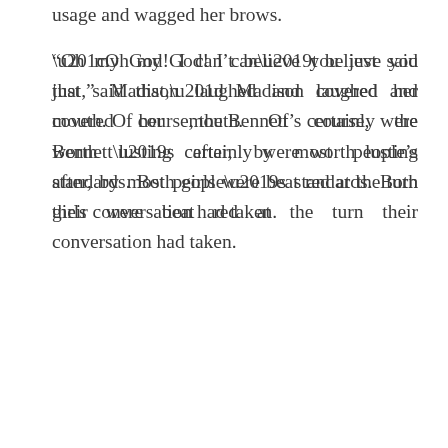usage and wagged her brows.
“Oh my God! I can’t believe you just said that,” Madison laughed and covered her mouth. Of course, the Bennett’s certainly were worth lusting after, by most people’s standards. Both girls were beat red at the turn their conversation had taken.
“What are you girls laughing about?” Jayden asked as he and Andrew approached.
Madison turned and was momentarily stunned. Andrew looked sinfully sexy. His low-slung board shorts were clinging to his strong legs while water glistened on his wet chest and abs, making the hair on his toned stomach stick to him. The water was luminous on his tattoos and made them